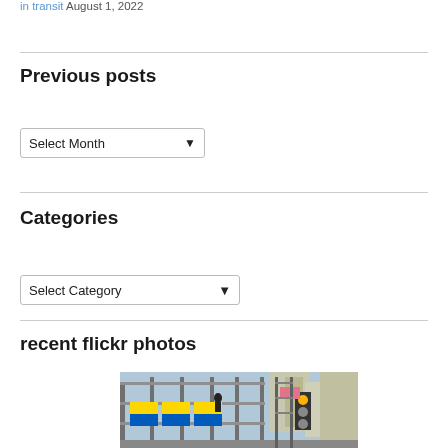in transit August 1, 2022
Previous posts
[Figure (other): Select Month dropdown widget]
Categories
[Figure (other): Select Category dropdown widget]
recent flickr photos
[Figure (photo): Photo of scaffolding with Ukrainian flags (yellow and blue) in an urban setting with tall buildings and a traffic light in the background]